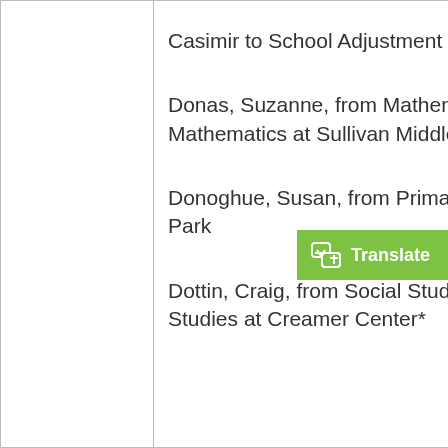Casimir to School Adjustment Counselor at St. Casimir*
Donas, Suzanne, from Mathematics at Burncoat Middle to Mathematics at Sullivan Middle
Donoghue, Susan, from Primary at Elm Park to Primary at Columbus Park
Dottin, Craig, from Social Studies at Creamer Center to Social Studies at Creamer Center*